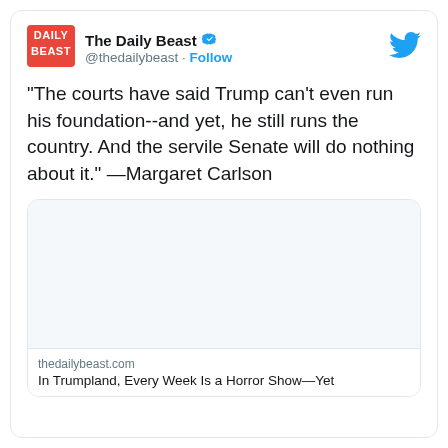[Figure (screenshot): The Daily Beast logo — red rectangular logo with white text DAILY BEAST]
The Daily Beast ✓ @thedailybeast · Follow
[Figure (logo): Twitter bird logo in blue]
"The courts have said Trump can't even run his foundation--and yet, he still runs the country. And the servile Senate will do nothing about it." —Margaret Carlson
[Figure (screenshot): Link card image area (blank/white)]
thedailybeast.com
In Trumpland, Every Week Is a Horror Show—Yet